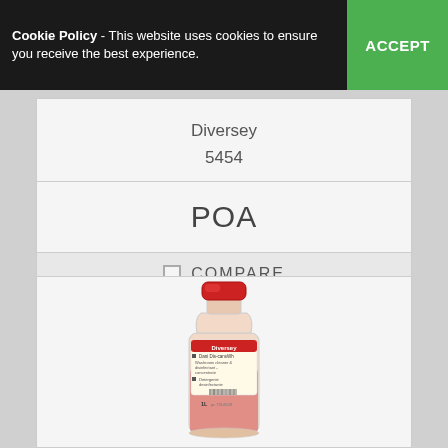Cookie Policy - This website uses cookies to ensure you receive the best experience. ACCEPT
Diversey
5454
POA
COMPARE
[Figure (photo): Diversey product bottle with red cap, containing a pink/red liquid, labeled as Diversey disinfectant cleaner concentrate, 1L bottle]